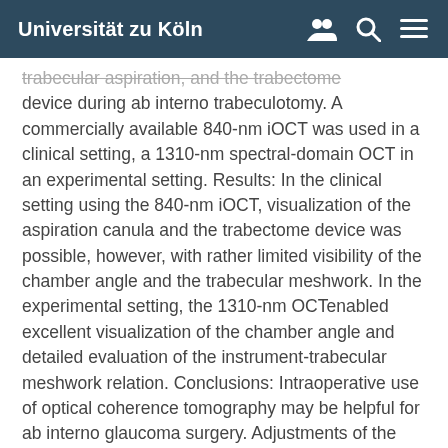Universität zu Köln
trabecular aspiration, and the trabectome device during ab interno trabeculotomy. A commercially available 840-nm iOCT was used in a clinical setting, a 1310-nm spectral-domain OCT in an experimental setting. Results: In the clinical setting using the 840-nm iOCT, visualization of the aspiration canula and the trabectome device was possible, however, with rather limited visibility of the chamber angle and the trabecular meshwork. In the experimental setting, the 1310-nm OCTenabled excellent visualization of the chamber angle and detailed evaluation of the instrument-trabecular meshwork relation. Conclusions: Intraoperative use of optical coherence tomography may be helpful for ab interno glaucoma surgery. Adjustments of the commercially available iOCT, including longer wavelengths and oblique scanning options, are necessary for the clinical use.